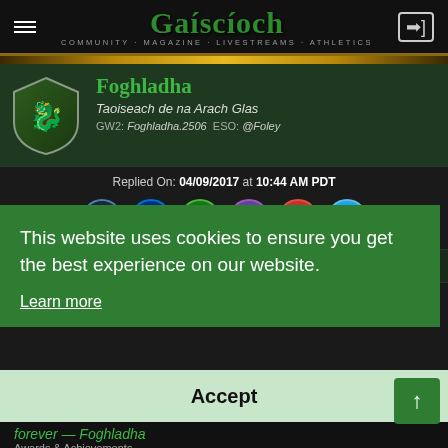Gaíscíoch — Community Magazine Livestreams Athletics
[Figure (screenshot): User profile card for Foghladha, Taoiseach de na Arach Glas, with shield avatar]
Foghladha
Taoiseach de na Arach Glas
GW2: Foghladha.2506  ESO: @Foley
Replied On: 04/09/2017 at 10:44 AM PDT
[Figure (infographic): Row of social media icons: Steam, PlayStation, Xbox, Twitch, YouTube, Twitter]
Updated: Voice Guild Missions
This website uses cookies to ensure you get the best experience on our website.
Learn more
Accept
forever — Foghladha
Awards & Achievements